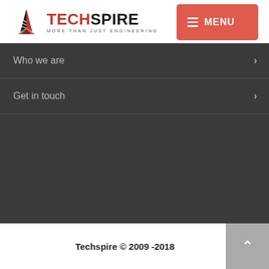[Figure (logo): Techspire logo with red/black geometric spire icon and text 'TECHSPIRE – MORE THAN JUST ENGINEERING']
[Figure (other): Red menu button with hamburger lines and text 'MENU']
Who we are
Get in touch
Techspire © 2009 -2018